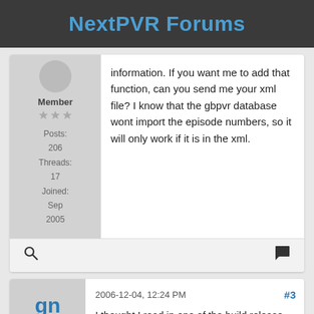NextPVR Forums
information. If you want me to add that function, can you send me your xml file? I know that the gbpvr database wont import the episode numbers, so it will only work if it is in the xml.
Member
Posts: 206
Threads: 17
Joined: Sep 2005
2006-12-04, 12:24 PM  #3
I thought I read in one of the build release notes that sub included a field for zap2it/xmltv's episode information. However, I noticed when I